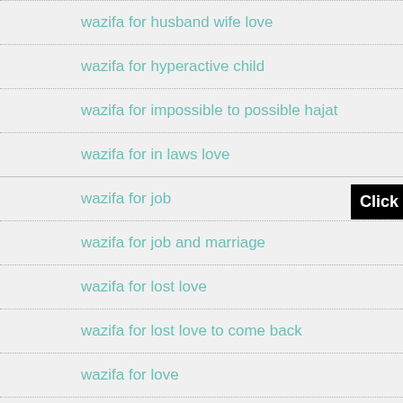wazifa for husband wife love
wazifa for hyperactive child
wazifa for impossible to possible hajat
wazifa for in laws love
wazifa for job
wazifa for job and marriage
wazifa for lost love
wazifa for lost love to come back
wazifa for love
wazifa for love and attraction